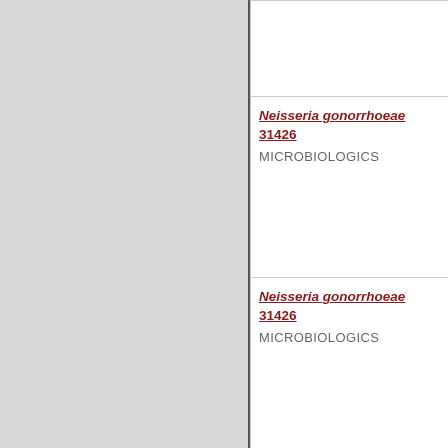| Product Name / Manufacturer | Code |
| --- | --- |
| Neisseria gonorrhoeae 31426
MICROBIOLOGICS | MB03… |
| Neisseria gonorrhoeae 31426
MICROBIOLOGICS | MB03… |
| Neisseria gonorrhoeae 43069
MICROBIOLOGICS | MB04… |